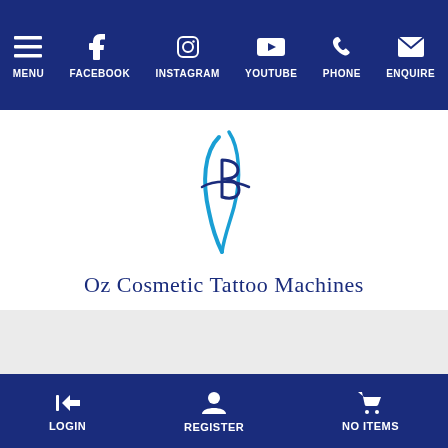MENU | FACEBOOK | INSTAGRAM | YOUTUBE | PHONE | ENQUIRE
[Figure (logo): Oz Cosmetic Tattoo Machines logo — stylized blue feather/pen icon above the text 'Oz Cosmetic Tattoo Machines']
[Figure (photo): Light grey banner/hero image area]
Micro-Blading
LOGIN | REGISTER | NO ITEMS